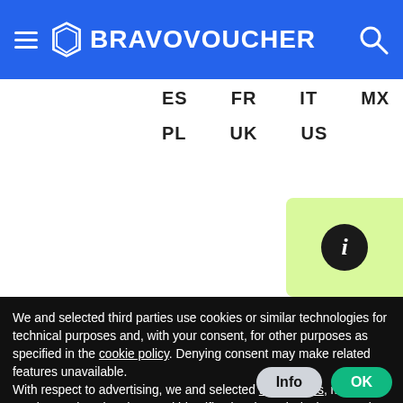BRAVOVOUCHER
ES  FR  IT  MX  NL
PL  UK  US
We and selected third parties use cookies or similar technologies for technical purposes and, with your consent, for other purposes as specified in the cookie policy. Denying consent may make related features unavailable.
With respect to advertising, we and selected third parties, may use precise geolocation data, and identification through device scanning in order to store and/or access information on a device and process personal data like your usage data for the following advertising purposes: personalized ads and content, ad and content measurement, audience insights and product development.
You can freely give, deny, or withdraw your consent at any time by accessing the preferences panel.
You can consent to the use of such technologies by using the “OK” button or by continuing to browse otherwise.